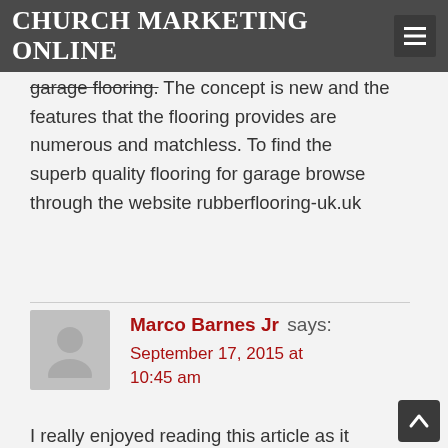CHURCH MARKETING ONLINE
garage flooring. The concept is new and the features that the flooring provides are numerous and matchless. To find the superb quality flooring for garage browse through the website rubberflooring-uk.uk
Marco Barnes Jr says September 17, 2015 at 10:45 am
I really enjoyed reading this article as it gave a lot of insight in the ministries efforts to attract more visitors. The information greatly outlines the uses